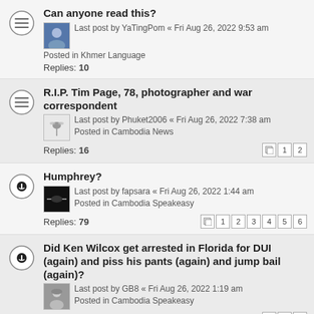Can anyone read this? Last post by YaTingPom « Fri Aug 26, 2022 9:53 am. Posted in Khmer Language. Replies: 10
R.I.P. Tim Page, 78, photographer and war correspondent. Last post by Phuket2006 « Fri Aug 26, 2022 7:38 am. Posted in Cambodia News. Replies: 16. Pages: 1 2
Humphrey? Last post by fapsara « Fri Aug 26, 2022 1:44 am. Posted in Cambodia Speakeasy. Replies: 79. Pages: 1 2 3 4 5 6
Did Ken Wilcox get arrested in Florida for DUI (again) and piss his pants (again) and jump bail (again)? Last post by GB8 « Fri Aug 26, 2022 1:19 am. Posted in Cambodia Speakeasy. Replies: 27. Pages: 1 2
So many unfinished buildings what was it